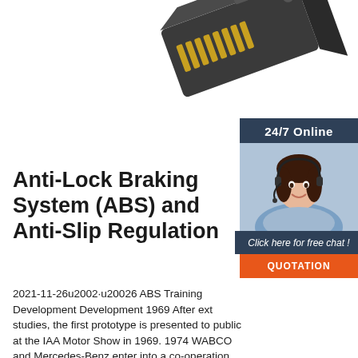[Figure (photo): Close-up photo of an ABS electronic connector module with gold pins, dark gray housing, viewed from an angle from above]
[Figure (photo): Sidebar: dark blue panel with '24/7 Online' header, photo of a smiling woman with headset, 'Click here for free chat!' text, and orange QUOTATION button]
Anti-Lock Braking System (ABS) and Anti-Slip Regulation
2021-11-26u2002·u20026 ABS Training Development Development 1969 After ext studies, the first prototype is presented to public at the IAA Motor Show in 1969. 1974 WABCO and Mercedes-Benz enter into a co-operation agreement. Collaborative teamwork push both system development and vehicle testing ahead. 1975 WABCO begins to develop its own electronic systems based on analogue and into